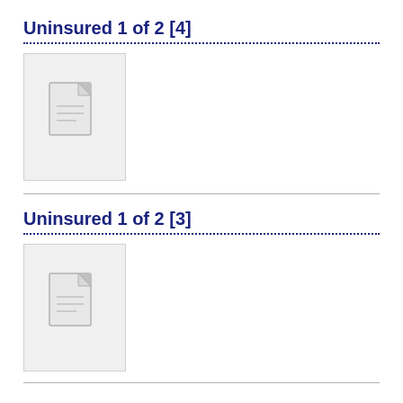Uninsured 1 of 2 [4]
[Figure (illustration): Document placeholder icon — a grey file/page icon on light grey background with border]
Uninsured 1 of 2 [3]
[Figure (illustration): Document placeholder icon — a grey file/page icon on light grey background with border]